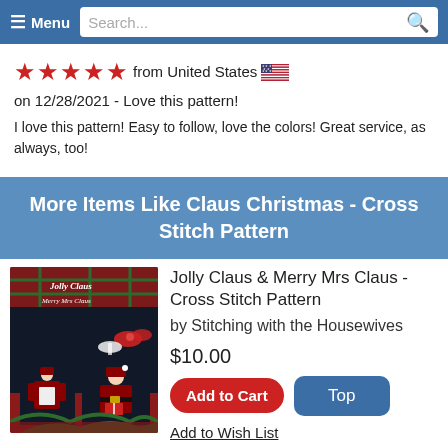☰ Menu   Search...
★★★★★ from United States 🇺🇸 on 12/28/2021 - Love this pattern!
I love this pattern! Easy to follow, love the colors! Great service, as always, too!
More Items Like Claus Christmas - Cross Stitch Pattern
[Figure (photo): Photo of Jolly Claus & Merry Mrs Claus cross stitch pattern product with Christmas decorations]
Jolly Claus & Merry Mrs Claus - Cross Stitch Pattern
by Stitching with the Housewives
$10.00
Add to Cart
Top
Add to Wish List